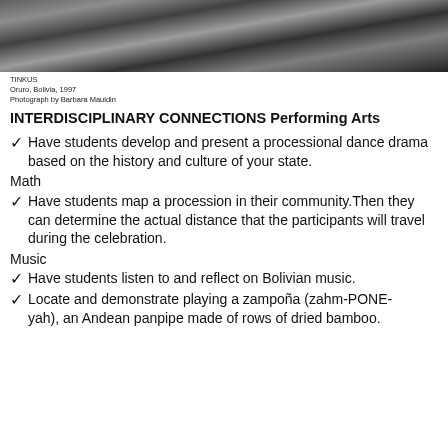[Figure (photo): Black and white photograph of people in traditional costume, likely performing Tinkus dance]
TINKUS
Oruro, Bolivia, 1997
Photograph by Barbara Mauldin
INTERDISCIPLINARY CONNECTIONS Performing Arts
Have students develop and present a processional dance drama based on the history and culture of your state.
Math
Have students map a procession in their community.Then they can determine the actual distance that the participants will travel during the celebration.
Music
Have students listen to and reflect on Bolivian music.
Locate and demonstrate playing a zampoña (zahm-PONE-
yah), an Andean panpipe made of rows of dried bamboo.